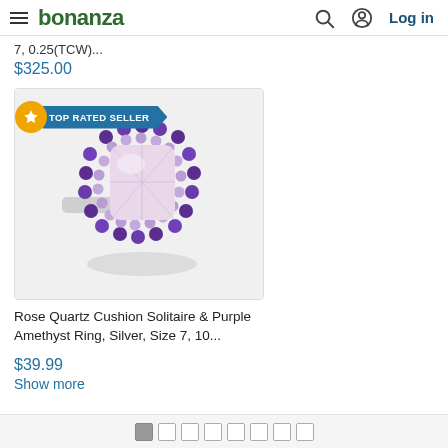bonanza — Log in
7, 0.25(TCW)...
$325.00
[Figure (photo): Rose quartz cushion solitaire ring surrounded by double halo of purple amethyst stones set in silver, close-up product photo on light background]
Rose Quartz Cushion Solitaire & Purple Amethyst Ring, Silver, Size 7, 10...
$39.99
Show more